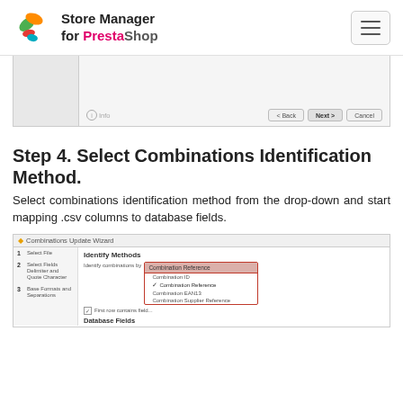Store Manager for PrestaShop
[Figure (screenshot): Screenshot of a wizard dialog with Back, Next, Cancel buttons and an info link at the bottom]
Step 4. Select Combinations Identification Method.
Select combinations identification method from the drop-down and start mapping .csv columns to database fields.
[Figure (screenshot): Screenshot of Combinations Update Wizard showing Identify Methods step with a dropdown showing options: Combination ID, Combination Reference, Combination EAN13, Combination Supplier Reference. Steps listed: 1 Select File, 2 Select Fields Delimiter and Quote Character, 3 Base Formats and Separators. Database Fields section and Name row visible at bottom.]